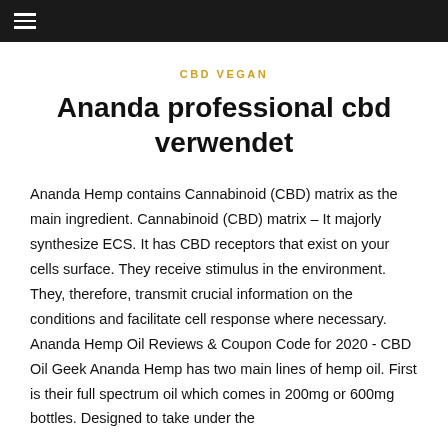≡
CBD VEGAN
Ananda professional cbd verwendet
Ananda Hemp contains Cannabinoid (CBD) matrix as the main ingredient. Cannabinoid (CBD) matrix – It majorly synthesize ECS. It has CBD receptors that exist on your cells surface. They receive stimulus in the environment. They, therefore, transmit crucial information on the conditions and facilitate cell response where necessary. Ananda Hemp Oil Reviews & Coupon Code for 2020 - CBD Oil Geek Ananda Hemp has two main lines of hemp oil. First is their full spectrum oil which comes in 200mg or 600mg bottles. Designed to take under the